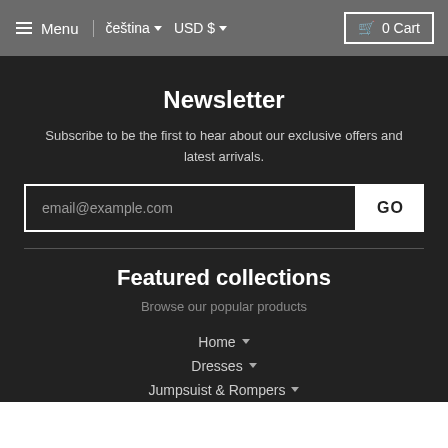≡ Menu | čeština ▼  USD $ ▼  🛒 0 Cart
Newsletter
Subscribe to be the first to hear about our exclusive offers and latest arrivals.
email@example.com  GO
Featured collections
Browse our popular products
Home ▼
Dresses ▼
Jumpsuist & Rompers ▼